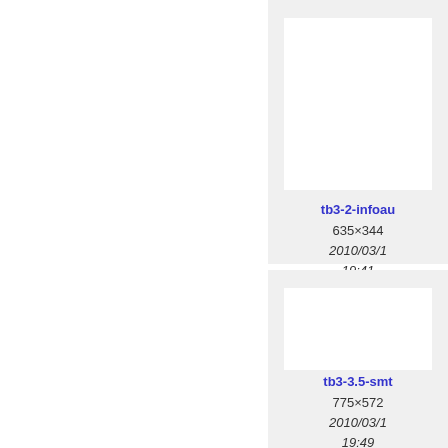[Figure (screenshot): Thumbnail image area for tb3-2-infoau file, shown in a light gray panel on the right side]
tb3-2-infoau
635×344
2010/03/1
19:41
41.9 KB
[Figure (screenshot): Thumbnail image area for tb3-3.5-smt file, shown in a light gray panel on the right side]
tb3-3.5-smt
775×572
2010/03/1
19:49
66.8 KB